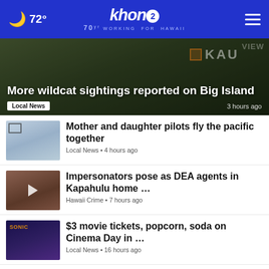🌙 72° khon2 WORKING FOR HAWAII
[Figure (screenshot): Hero news story with dark outdoor background showing KAU map label]
More wildcat sightings reported on Big Island
Local News • 3 hours ago
[Figure (photo): Thumbnail of airplane cockpit]
Mother and daughter pilots fly the pacific together
Local News • 4 hours ago
[Figure (photo): Thumbnail of building with bars]
Impersonators pose as DEA agents in Kapahulu home …
Hawaii Crime • 7 hours ago
[Figure (photo): Thumbnail of cinema ticket machines]
$3 movie tickets, popcorn, soda on Cinema Day in …
Local News • 16 hours ago
[Figure (photo): Thumbnail of Little League baseball team]
It's Back To School for Honolulu Little League Team
Wake Up 2day • 18 hours ago